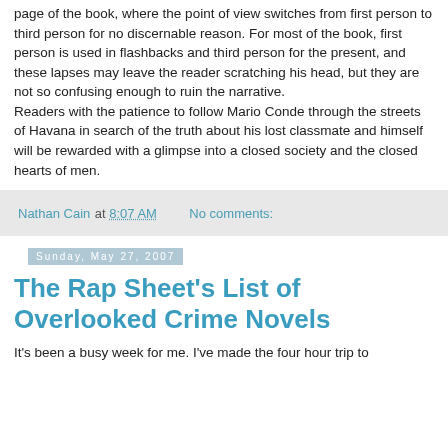page of the book, where the point of view switches from first person to third person for no discernable reason. For most of the book, first person is used in flashbacks and third person for the present, and these lapses may leave the reader scratching his head, but they are not so confusing enough to ruin the narrative.
Readers with the patience to follow Mario Conde through the streets of Havana in search of the truth about his lost classmate and himself will be rewarded with a glimpse into a closed society and the closed hearts of men.
Nathan Cain at 8:07 AM   No comments:
Sunday, May 27, 2007
The Rap Sheet's List of Overlooked Crime Novels
It's been a busy week for me. I've made the four hour trip to